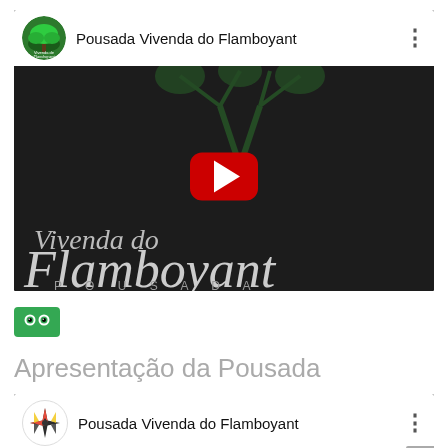[Figure (screenshot): YouTube embed showing Pousada Vivenda do Flamboyant channel with video thumbnail featuring the brand logo (tree illustration, 'Vivenda do Flamboyant' text, and 'POUSADA' text on dark background) and YouTube play button]
[Figure (logo): TripAdvisor green button/badge icon]
Apresentação da Pousada
[Figure (screenshot): Second YouTube embed showing Pousada Vivenda do Flamboyant channel header with compass rose logo icon, channel title, and three-dot menu, with grey scrollbar indicator]